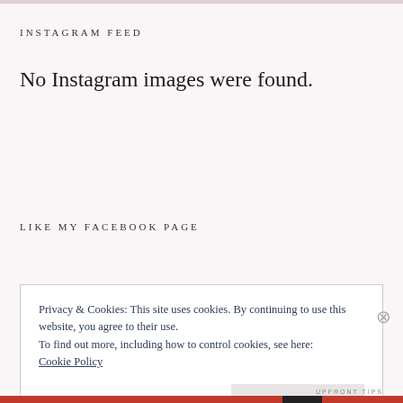INSTAGRAM FEED
No Instagram images were found.
LIKE MY FACEBOOK PAGE
Privacy & Cookies: This site uses cookies. By continuing to use this website, you agree to their use.
To find out more, including how to control cookies, see here:
Cookie Policy
Close and accept